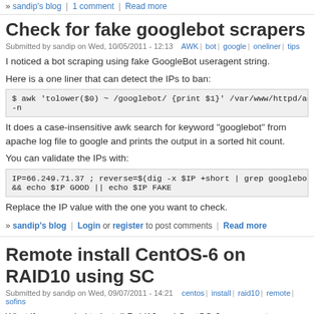» sandip's blog | 1 comment | Read more
Check for fake googlebot scrapers
Submitted by sandip on Wed, 10/05/2011 - 12:13   AWK | bot | google | oneliner | tips
I noticed a bot scraping using fake GoogleBot useragent string.
Here is a one liner that can detect the IPs to ban:
It does a case-insensitive awk search for keyword "googlebot" from apache log file to google and prints the output in a sorted hit count.
You can validate the IPs with:
Replace the IP value with the one you want to check.
» sandip's blog | Login or register to post comments | Read more
Remote install CentOS-6 on RAID10 using SO...
Submitted by sandip on Wed, 09/07/2011 - 14:21   centos | install | raid10 | remote | sofins
What if you needed to install Raid10 and CentOS-6 on a remote, unformatted ser...